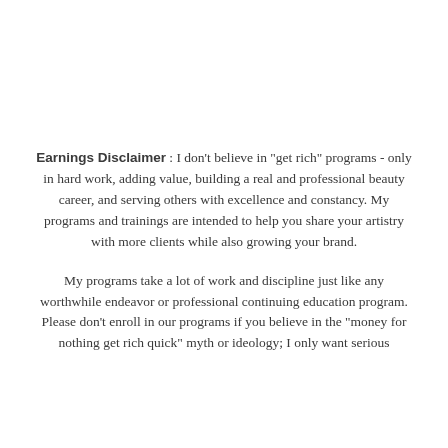Earnings Disclaimer : I don't believe in "get rich" programs - only in hard work, adding value, building a real and professional beauty career, and serving others with excellence and constancy. My programs and trainings are intended to help you share your artistry with more clients while also growing your brand.
My programs take a lot of work and discipline just like any worthwhile endeavor or professional continuing education program. Please don't enroll in our programs if you believe in the "money for nothing get rich quick" myth or ideology; I only want serious and dedicated to excellence people.